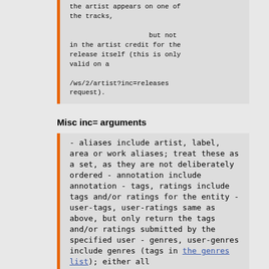the artist appears on one of the tracks,

                    but not in the artist credit for the release itself (this is only valid on a

/ws/2/artist?inc=releases request).
Misc inc= arguments
- aliases include artist, label, area or work aliases; treat these as a set, as they are not deliberately ordered
 - annotation include annotation
 - tags, ratings include tags and/or ratings for the entity
 - user-tags, user-ratings same as above, but only return the tags and/or ratings submitted by the specified user
 - genres, user-genres include genres (tags in the genres list); either all